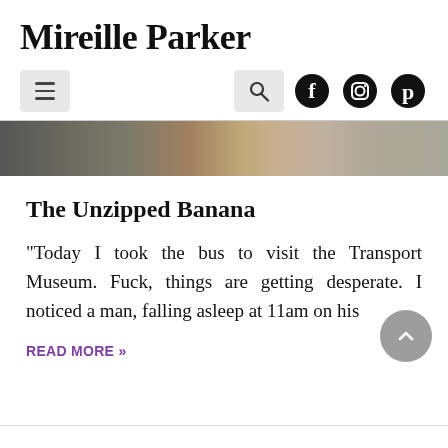Mireille Parker
Navigation bar with hamburger menu, search, Facebook, Instagram, Pinterest icons
[Figure (photo): Partial hero banner image showing people in colorful clothing, partially cropped]
The Unzipped Banana
“Today I took the bus to visit the Transport Museum. Fuck, things are getting desperate. I noticed a man, falling asleep at 11am on his
READ MORE »